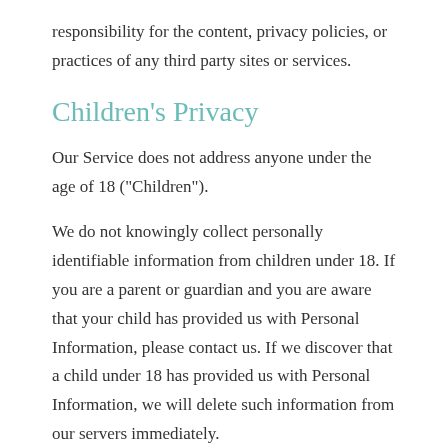responsibility for the content, privacy policies, or practices of any third party sites or services.
Children's Privacy
Our Service does not address anyone under the age of 18 (“Children”).
We do not knowingly collect personally identifiable information from children under 18. If you are a parent or guardian and you are aware that your child has provided us with Personal Information, please contact us. If we discover that a child under 18 has provided us with Personal Information, we will delete such information from our servers immediately.